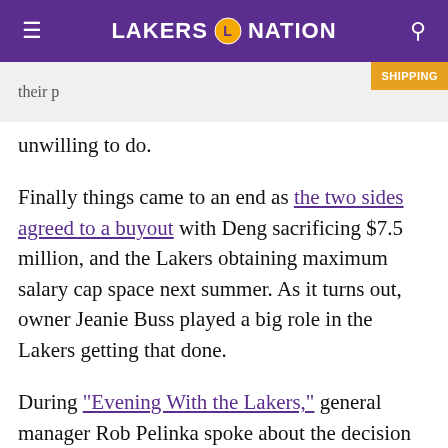LAKERS NATION
[Figure (other): Advertisement banner with partially visible product image and SHIPPING badge]
their p...unwilling to do.
Finally things came to an end as the two sides agreed to a buyout with Deng sacrificing $7.5 million, and the Lakers obtaining maximum salary cap space next summer. As it turns out, owner Jeanie Buss played a big role in the Lakers getting that done.
During “Evening With the Lakers,” general manager Rob Pelinka spoke about the decision to waive and stretch Deng, and revealed how a message from Buss was the turning point: